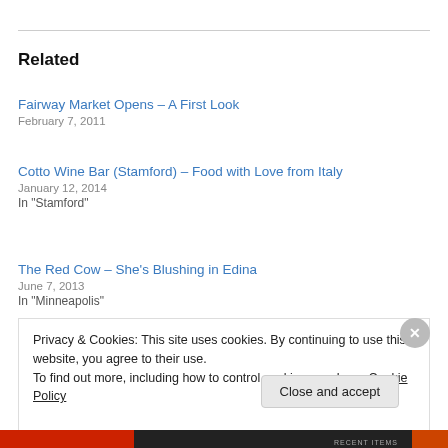Related
Fairway Market Opens – A First Look
February 7, 2011
Cotto Wine Bar (Stamford) – Food with Love from Italy
January 12, 2014
In "Stamford"
The Red Cow – She's Blushing in Edina
June 7, 2013
In "Minneapolis"
Privacy & Cookies: This site uses cookies. By continuing to use this website, you agree to their use.
To find out more, including how to control cookies, see here: Cookie Policy